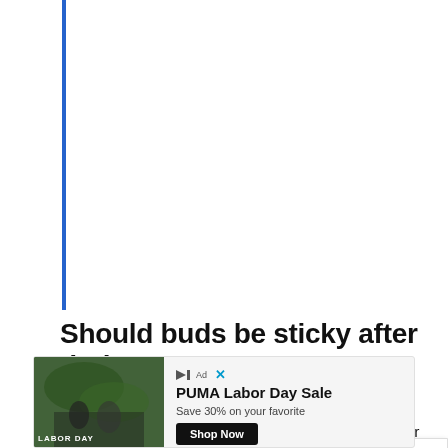[Figure (other): Vertical blue decorative bar on the left side of the page]
Should buds be sticky after drying?
Dry cannabis has a poor reputation as being stale or a low-grade, "dirty," cheaper variant of sticky
[Figure (other): Advertisement banner: PUMA Labor Day Sale — Save 30% on your favorite, with photo of people outdoors with LABOR DAY text overlay]